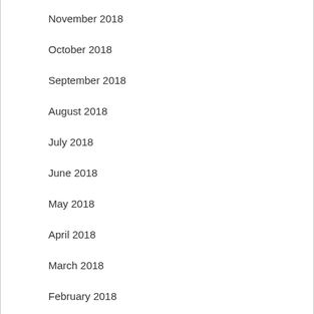November 2018
October 2018
September 2018
August 2018
July 2018
June 2018
May 2018
April 2018
March 2018
February 2018
January 2018
December 2017
November 2017